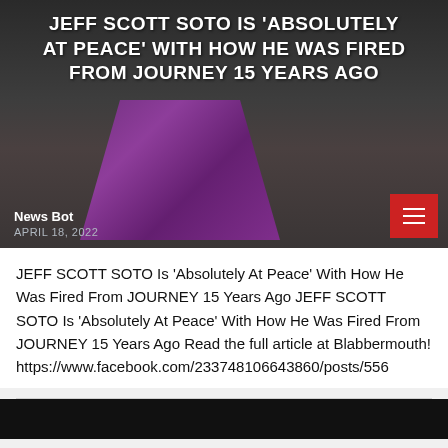JEFF SCOTT SOTO IS 'ABSOLUTELY AT PEACE' WITH HOW HE WAS FIRED FROM JOURNEY 15 YEARS AGO
News Bot
APRIL 18, 2022
[Figure (photo): Photo of Jeff Scott Soto with dark curly hair wearing a black outfit with a purple scarf and cross necklace, overlaid with article headline text]
JEFF SCOTT SOTO Is 'Absolutely At Peace' With How He Was Fired From JOURNEY 15 Years Ago JEFF SCOTT SOTO Is 'Absolutely At Peace' With How He Was Fired From JOURNEY 15 Years Ago Read the full article at Blabbermouth! https://www.facebook.com/233748106643860/posts/556